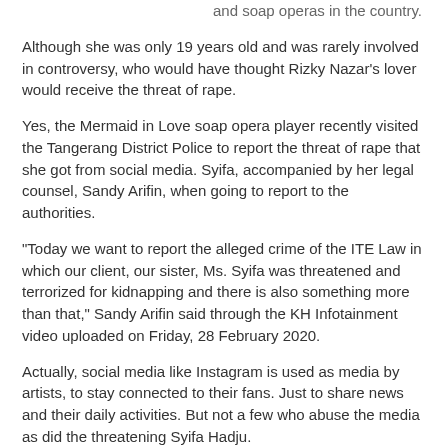and soap operas in the country. Although she was only 19 years old and was rarely involved in controversy, who would have thought Rizky Nazar's lover would receive the threat of rape.
Yes, the Mermaid in Love soap opera player recently visited the Tangerang District Police to report the threat of rape that she got from social media. Syifa, accompanied by her legal counsel, Sandy Arifin, when going to report to the authorities.
"Today we want to report the alleged crime of the ITE Law in which our client, our sister, Ms. Syifa was threatened and terrorized for kidnapping and there is also something more than that," Sandy Arifin said through the KH Infotainment video uploaded on Friday, 28 February 2020.
Actually, social media like Instagram is used as media by artists, to stay connected to their fans. Just to share news and their daily activities. But not a few who abuse the media as did the threatening Syifa Hadju.
Speaking to the media crew, Syifa admitted that she had actually long ago received the threat, even since a few months ago. Only, concerned initially ignored the threat.
Syifa even had time to block these users, but the same user appeared with a new account and spread the same threat again. Syifa only felt embarrassed and dared to report to the authorities after the people around her also received the same threat.
"The threat is through DM Instagram, actually I've been terrorizing it